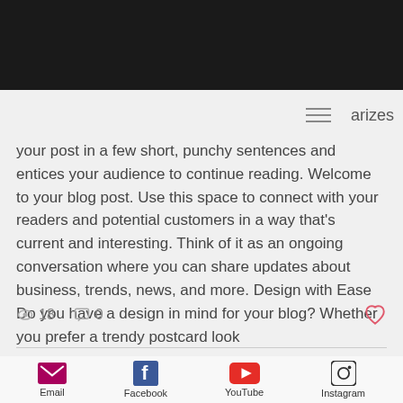[Figure (screenshot): Dark navigation bar with Facebook Share button on left and partial 'test' text on right, hamburger menu icon below on right]
arizes your post in a few short, punchy sentences and entices your audience to continue reading. Welcome to your blog post. Use this space to connect with your readers and potential customers in a way that's current and interesting. Think of it as an ongoing conversation where you can share updates about business, trends, news, and more. Design with Ease Do you have a design in mind for your blog? Whether you prefer a trendy postcard look
18  0
[Figure (infographic): Social media footer with Email, Facebook, YouTube, and Instagram icons and labels]